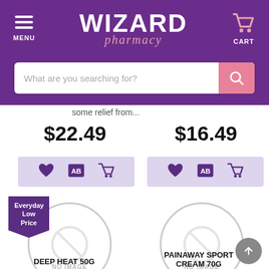[Figure (screenshot): Wizard Pharmacy mobile website header with logo, menu icon, cart icon, and search bar]
some relief from...
$22.49
$16.49
[Figure (other): Action bar with heart, AB, and cart icons for first product]
[Figure (other): Action bar with heart, AB, and cart icons for second product]
[Figure (other): Everyday Low Price badge and NO IMAGE placeholder circle for Deep Heat 50G]
[Figure (other): NO IMAGE placeholder circle for Painaway Sport Cream 70G]
DEEP HEAT 50G
PAINAWAY SPORT CREAM 70G